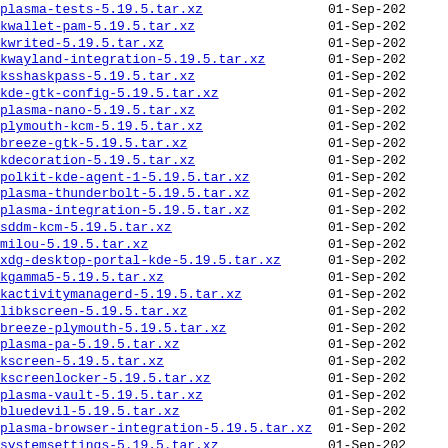plasma-tests-5.19.5.tar.xz    01-Sep-202
kwallet-pam-5.19.5.tar.xz    01-Sep-202
kwrited-5.19.5.tar.xz    01-Sep-202
kwayland-integration-5.19.5.tar.xz    01-Sep-202
ksshaskpass-5.19.5.tar.xz    01-Sep-202
kde-gtk-config-5.19.5.tar.xz    01-Sep-202
plasma-nano-5.19.5.tar.xz    01-Sep-202
plymouth-kcm-5.19.5.tar.xz    01-Sep-202
breeze-gtk-5.19.5.tar.xz    01-Sep-202
kdecoration-5.19.5.tar.xz    01-Sep-202
polkit-kde-agent-1-5.19.5.tar.xz    01-Sep-202
plasma-thunderbolt-5.19.5.tar.xz    01-Sep-202
plasma-integration-5.19.5.tar.xz    01-Sep-202
sddm-kcm-5.19.5.tar.xz    01-Sep-202
milou-5.19.5.tar.xz    01-Sep-202
xdg-desktop-portal-kde-5.19.5.tar.xz    01-Sep-202
kgamma5-5.19.5.tar.xz    01-Sep-202
kactivitymanagerd-5.19.5.tar.xz    01-Sep-202
libkscreen-5.19.5.tar.xz    01-Sep-202
breeze-plymouth-5.19.5.tar.xz    01-Sep-202
plasma-pa-5.19.5.tar.xz    01-Sep-202
kscreen-5.19.5.tar.xz    01-Sep-202
kscreenlocker-5.19.5.tar.xz    01-Sep-202
plasma-vault-5.19.5.tar.xz    01-Sep-202
bluedevil-5.19.5.tar.xz    01-Sep-202
plasma-browser-integration-5.19.5.tar.xz    01-Sep-202
systemsettings-5.19.5.tar.xz    01-Sep-202
kwayland-server-5.19.5.tar.xz    01-Sep-202
plasma-sdk-5.19.5.tar.xz    01-Sep-202
ksysguard-5.19.5.tar.xz    01-Sep-202